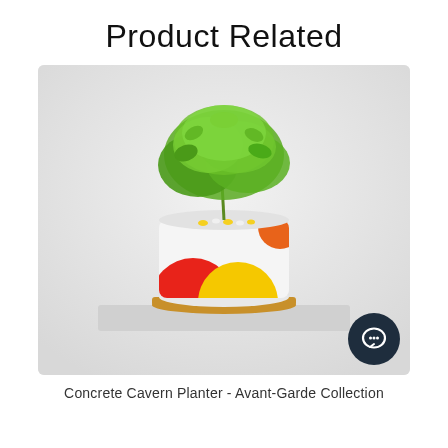Product Related
[Figure (photo): A white ceramic planter pot with colorful geometric semicircle designs in red, yellow, and orange, sitting on a wooden tray. The pot contains a small green leafy plant with yellow flowers and decorative pebbles. The planter is displayed on a white surface against a light gray background.]
Concrete Cavern Planter - Avant-Garde Collection